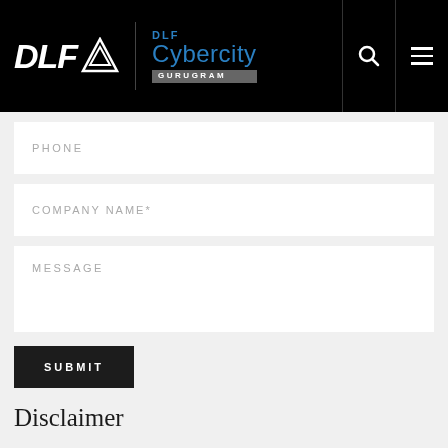[Figure (logo): DLF Cybercity Gurugram logo on black navigation header with search and hamburger menu icons]
PHONE
COMPANY NAME*
MESSAGE
SUBMIT
Disclaimer